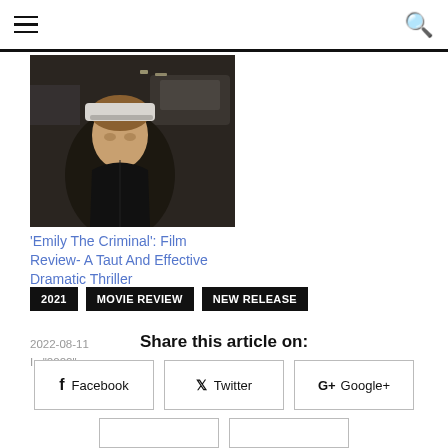Navigation bar with hamburger menu and search icon
[Figure (photo): Dark nighttime photo of a woman wearing a cap, outdoors near parked cars]
'Emily The Criminal': Film Review- A Taut And Effective Dramatic Thriller
2022-08-11
In "2022"
2021
MOVIE REVIEW
NEW RELEASE
Share this article on:
Facebook
Twitter
Google+